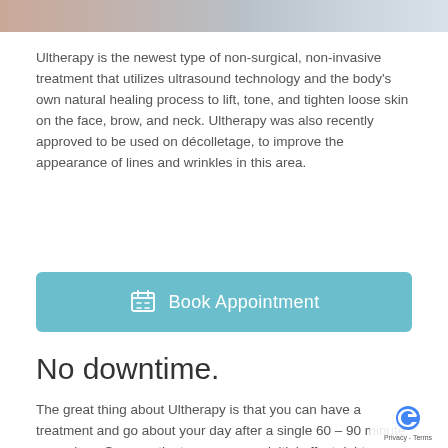[Figure (photo): Partial photo strip showing a person and medical equipment at the top of the page]
Ultherapy is the newest type of non-surgical, non-invasive treatment that utilizes ultrasound technology and the body's own natural healing process to lift, tone, and tighten loose skin on the face, brow, and neck. Ultherapy was also recently approved to be used on décolletage, to improve the appearance of lines and wrinkles in this area.
[Figure (other): Book Appointment button with calendar icon]
No downtime.
The great thing about Ultherapy is that you can have a treatment and go about your day after a single 60 – 90 minute procedure. Some patients may see an initial effect right away, but the real results appear over a 2-3 month period as new collagen works to lift and tighten the skin, and the procedure will continue to show results long after that. While Ultherapy won't duplicate the results of